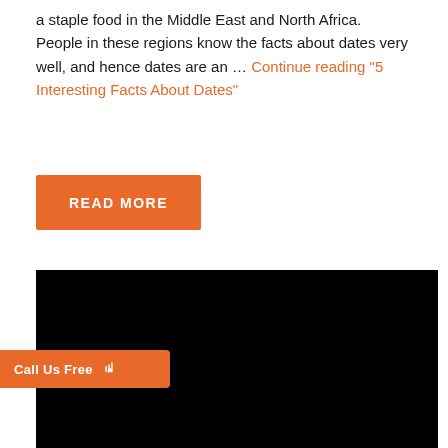a staple food in the Middle East and North Africa. People in these regions know the facts about dates very well, and hence dates are an … Continue reading "5 Interesting Facts About Dates"
[Figure (other): Orange 'READ MORE' button]
[Figure (photo): Large black image/video placeholder]
[Figure (other): Orange 'Call Us Free' button with phone and signal icons]